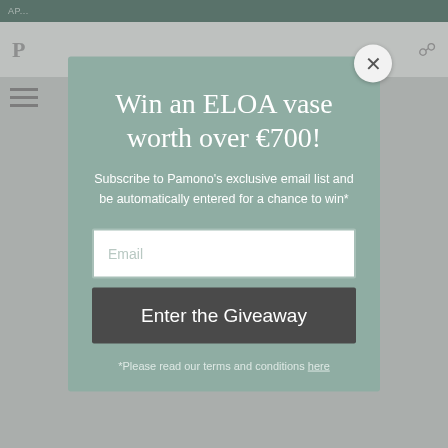AP...
Win an ELOA vase worth over €700!
Subscribe to Pamono's exclusive email list and be automatically entered for a chance to win*
Email
Enter the Giveaway
*Please read our terms and conditions here